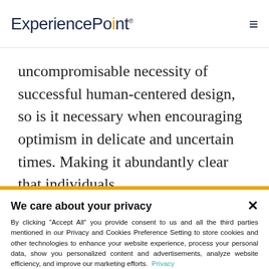ExperiencePoint
uncompromisable necessity of successful human-centered design, so is it necessary when encouraging optimism in delicate and uncertain times. Making it abundantly clear that individuals
We care about your privacy
By clicking "Accept All" you provide consent to us and all the third parties mentioned in our Privacy and Cookies Preference Setting to store cookies and other technologies to enhance your website experience, process your personal data, show you personalized content and advertisements, analyze website efficiency, and improve our marketing efforts. Privacy
Privacy Settings
Do Not Sell My Data
Accept All